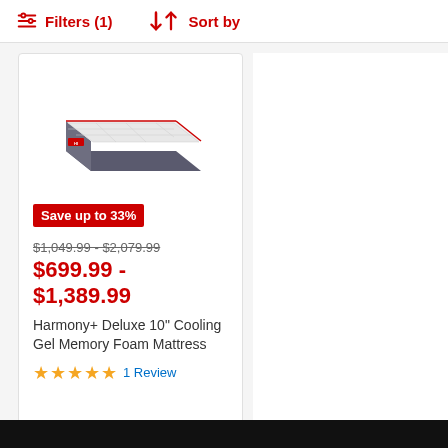Filters (1)  Sort by
[Figure (photo): Product photo of a white and grey Harmony+ Deluxe mattress shown in isometric/perspective view]
Save up to 33%
$1,049.99 - $2,079.99
$699.99 - $1,389.99
Harmony+ Deluxe 10" Cooling Gel Memory Foam Mattress
★★★★★ 1 Review